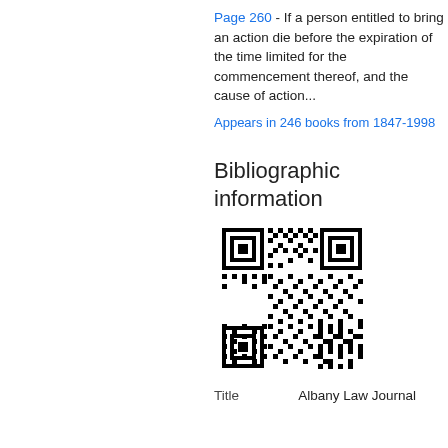Page 260 - If a person entitled to bring an action die before the expiration of the time limited for the commencement thereof, and the cause of action...
Appears in 246 books from 1847-1998
Bibliographic information
[Figure (other): QR code for bibliographic information]
| Title |  |
| --- | --- |
| Title | Albany Law Journal |